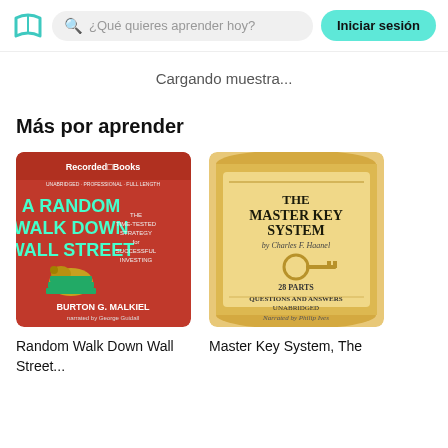Iniciar sesión | ¿Qué quieres aprender hoy?
Cargando muestra...
Más por aprender
[Figure (illustration): Book cover: A Random Walk Down Wall Street by Burton G. Malkiel, Recorded Books audiobook edition, red cover with green text and an image of a bull on money]
Random Walk Down Wall Street...
[Figure (illustration): Book cover: The Master Key System by Charles F. Haanel, scroll/parchment style cover with a golden key, 28 Parts Questions and Answers Unabridged, narrated by Philip Ives]
Master Key System, The